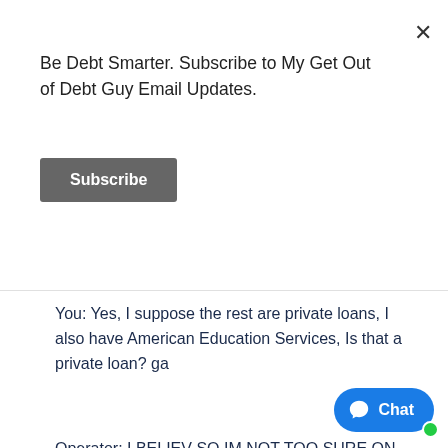Be Debt Smarter. Subscribe to My Get Out of Debt Guy Email Updates.
Subscribe
You: Yes, I suppose the rest are private loans, I also have American Education Services, Is that a private loan? ga
Operator: I BELIEV SO IM NOT TOO SURE ON THAT INFO I would HAVE TO DOUBLE CHECK GA
You: ok. becaiuse thats the one im paying now monthly, ga
Operator: OK NOW I WENT AHEAD AND